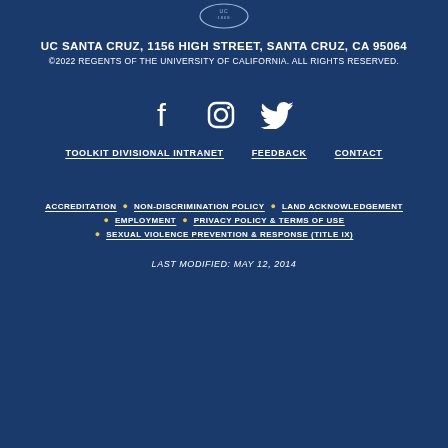[Figure (logo): UC Santa Cruz seal/badge at top center, circular seal with '1868']
UC SANTA CRUZ, 1156 HIGH STREET, SANTA CRUZ, CA 95064
©2022 REGENTS OF THE UNIVERSITY OF CALIFORNIA. ALL RIGHTS RESERVED.
[Figure (illustration): Social media icons: Facebook, Instagram, Twitter in white]
TOOLKIT DIVISIONAL INTRANET   FEEDBACK   CONTACT
ACCREDITATION • NON-DISCRIMINATION POLICY • LAND ACKNOWLEDGEMENT • EMPLOYMENT • PRIVACY POLICY & TERMS OF USE • SEXUAL VIOLENCE PREVENTION & RESPONSE (TITLE IX)
LAST MODIFIED: MAY 12, 2014